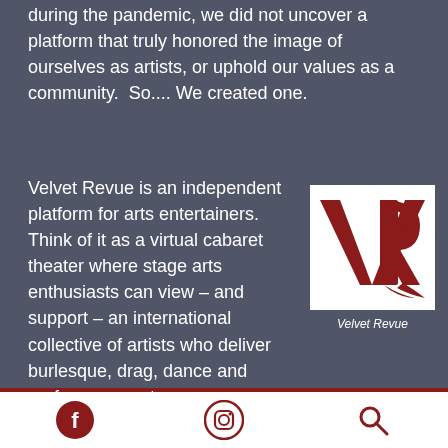during the pandemic, we did not uncover a platform that truly honored the image of ourselves as artists, or uphold our values as a community.  So.... We created one.
Velvet Revue is an independent platform for arts entertainers.  Think of it as a virtual cabaret theater where stage arts enthusiasts can view – and support – an international collective of artists who deliver burlesque, drag, dance and performance art.
[Figure (logo): Velvet Revue logo: white background with bold dark red VR letters in serif style]
Velvet Revue
Facebook icon | Instagram icon | Search icon